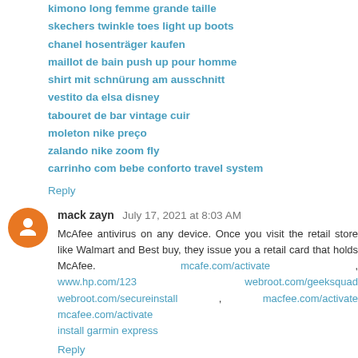kimono long femme grande taille
skechers twinkle toes light up boots
chanel hosenträger kaufen
maillot de bain push up pour homme
shirt mit schnürung am ausschnitt
vestito da elsa disney
tabouret de bar vintage cuir
moleton nike preço
zalando nike zoom fly
carrinho com bebe conforto travel system
Reply
mack zayn   July 17, 2021 at 8:03 AM
McAfee antivirus on any device. Once you visit the retail store like Walmart and Best buy, they issue you a retail card that holds McAfee. mcafe.com/activate , www.hp.com/123   webroot.com/geeksquad webroot.com/secureinstall , macfee.com/activate mcafee.com/activate install garmin express
Reply